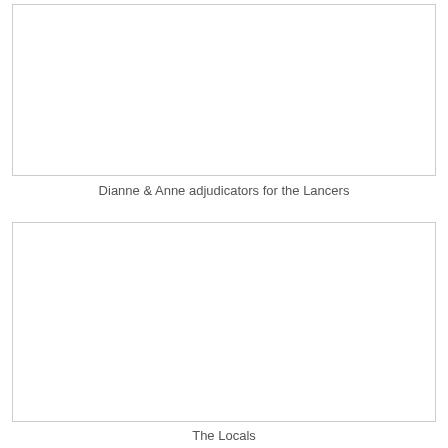[Figure (photo): Photo placeholder box at top of page, empty white rectangle with thin border]
Dianne & Anne adjudicators for the Lancers
[Figure (photo): Photo placeholder box in lower portion of page, empty white rectangle with thin border]
The Locals